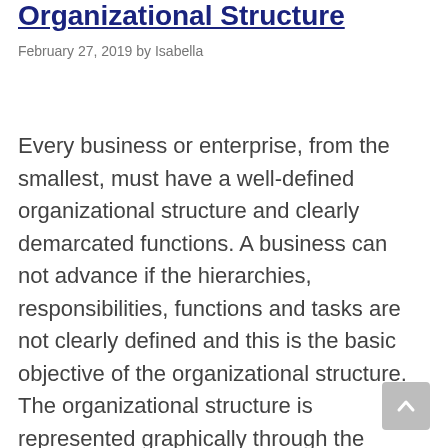Organizational Structure
February 27, 2019 by Isabella
Every business or enterprise, from the smallest, must have a well-defined organizational structure and clearly demarcated functions. A business can not advance if the hierarchies, responsibilities, functions and tasks are not clearly defined and this is the basic objective of the organizational structure. The organizational structure is represented graphically through the instrument known as an … Read more